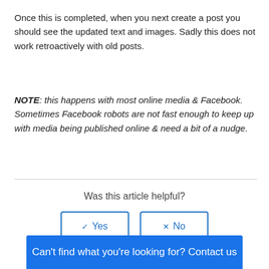Once this is completed, when you next create a post you should see the updated text and images. Sadly this does not work retroactively with old posts.
NOTE: this happens with most online media & Facebook. Sometimes Facebook robots are not fast enough to keep up with media being published online & need a bit of a nudge.
Was this article helpful?
Can't find what you're looking for? Contact us